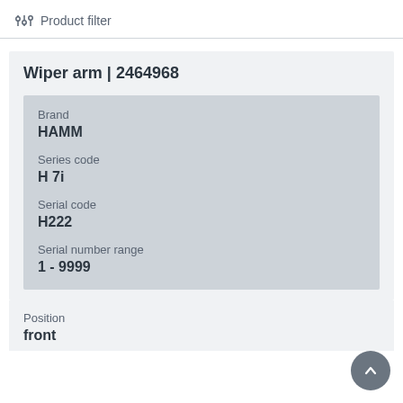Product filter
Wiper arm | 2464968
Brand
HAMM
Series code
H 7i
Serial code
H222
Serial number range
1 - 9999
Position
front